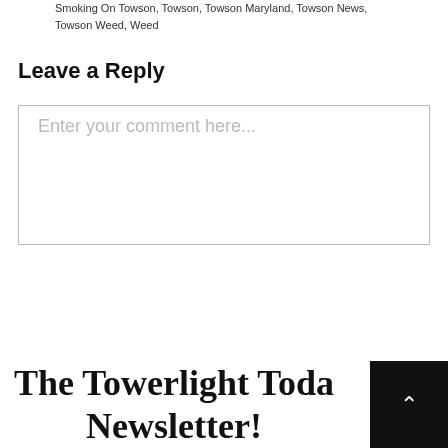Smoking On Towson, Towson, Towson Maryland, Towson News, Towson Weed, Weed
Leave a Reply
Enter your comment here...
The Towerlight Today Newsletter!